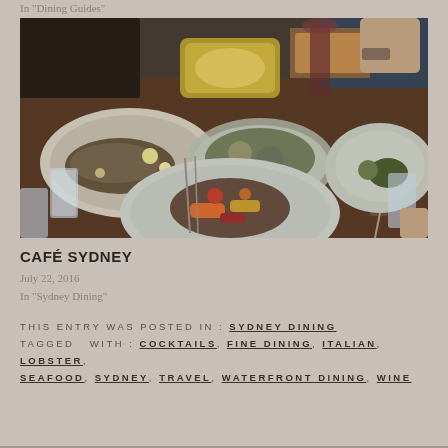In "Dining Guides"
[Figure (photo): Overhead view of a restaurant table set with multiple dishes including grilled fish, salads, roasted vegetables, and glasses of water and red wine, with diners' hands visible around the edges.]
CAFÉ SYDNEY
July 22, 2016
In "Sydney Dining"
THIS ENTRY WAS POSTED IN: SYDNEY DINING TAGGED WITH: COCKTAILS, FINE DINING, ITALIAN, LOBSTER, SEAFOOD, SYDNEY, TRAVEL, WATERFRONT DINING, WINE